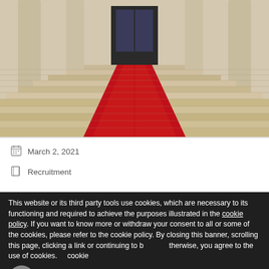[Figure (photo): Grand staircase with red carpet leading up to a building entrance with columns, viewed from below]
March 2, 2021
Recruitment
This website or its third party tools use cookies, which are necessary to its functioning and required to achieve the purposes illustrated in the cookie policy. If you want to know more or withdraw your consent to all or some of the cookies, please refer to the cookie policy. By closing this banner, scrolling this page, clicking a link or continuing to browse otherwise, you agree to the use of cookies.    cookie settings